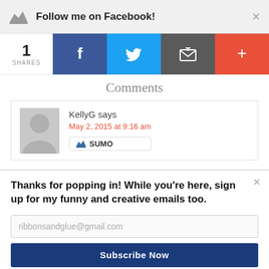Follow me on Facebook!
1 SHARES
[Figure (infographic): Social share buttons: Facebook (blue), Twitter (light blue), Email (dark grey), Plus (red-orange)]
Comments
KellyG says
May 2, 2015 at 9:16 am
[Figure (logo): SUMO badge with crown icon]
Thanks for popping in! While you're here, sign up for my funny and creative emails too.
ribbonsandglue@gmail.com
Subscribe Now